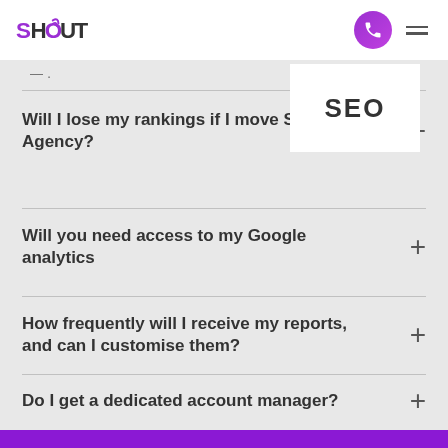SHOUT
— .
Will I lose my rankings if I move S... Agency?
SEO
Will you need access to my Google analytics
How frequently will I receive my reports, and can I customise them?
Do I get a dedicated account manager?